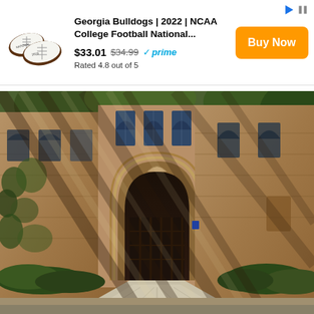[Figure (screenshot): Amazon ad banner for Georgia Bulldogs 2022 NCAA College Football National Championship mini football. Shows product image of two white mini footballs, price $33.01 (originally $34.99), Prime eligible, rated 4.8 out of 5, with orange Buy Now button.]
[Figure (photo): Photograph of a Gothic stone building entrance with a large pointed archway/gate, stone masonry walls with ivy, dappled sunlight casting diagonal shadows across the facade, a stone pathway leading to the gate, and green shrubs along the base.]